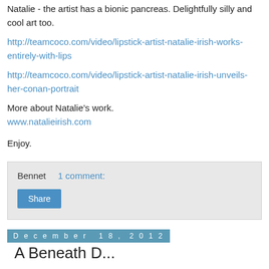Natalie - the artist has a bionic pancreas. Delightfully silly and cool art too.
http://teamcoco.com/video/lipstick-artist-natalie-irish-works-entirely-with-lips
http://teamcoco.com/video/lipstick-artist-natalie-irish-unveils-her-conan-portrait
More about Natalie’s work.
www.natalieirish.com
Enjoy.
Bennet   1 comment:
Share
December 18, 2012
A Beneath D...